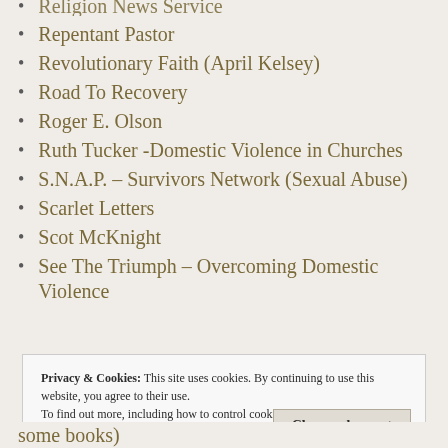Religion News Service
Repentant Pastor
Revolutionary Faith (April Kelsey)
Road To Recovery
Roger E. Olson
Ruth Tucker -Domestic Violence in Churches
S.N.A.P. – Survivors Network (Sexual Abuse)
Scarlet Letters
Scot McKnight
See The Triumph – Overcoming Domestic Violence
Privacy & Cookies: This site uses cookies. By continuing to use this website, you agree to their use.
To find out more, including how to control cookies, see here:
Cookie Policy
Close and accept
some books)